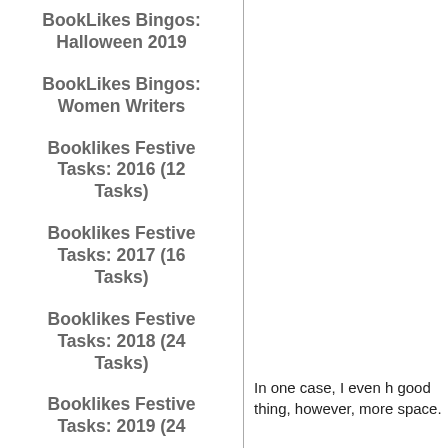BookLikes Bingos: Halloween 2019
BookLikes Bingos: Women Writers
Booklikes Festive Tasks: 2016 (12 Tasks)
Booklikes Festive Tasks: 2017 (16 Tasks)
Booklikes Festive Tasks: 2018 (24 Tasks)
Booklikes Festive Tasks: 2019 (24
In one case, I even h good thing, however, more space.